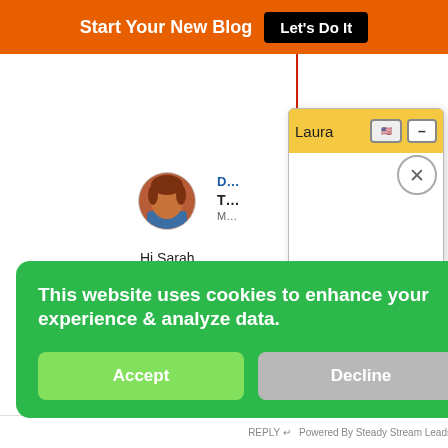Start Your New Blog — Let's Do It
Hi Sarah,
Oh those bl
need to kno
suggestions
Thanks for
[Figure (screenshot): Chat popup with header 'Laura', flag icon, minus button, close X button, and empty chat body on yellow-orange background]
This website uses cookies to enhance your experience & analyze data.
Accept
Decline
Powered By Steady Stream Leads